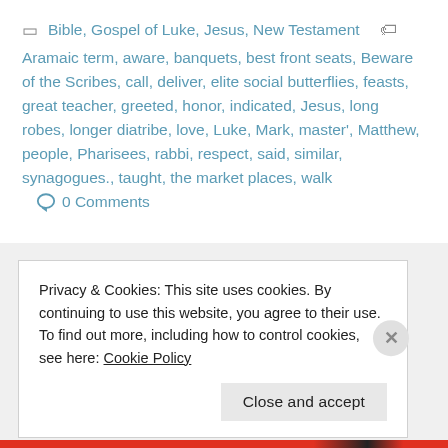Bible, Gospel of Luke, Jesus, New Testament
Aramaic term, aware, banquets, best front seats, Beware of the Scribes, call, deliver, elite social butterflies, feasts, great teacher, greeted, honor, indicated, Jesus, long robes, longer diatribe, love, Luke, Mark, master', Matthew, people, Pharisees, rabbi, respect, said, similar, synagogues., taught, the market places, walk   0 Comments
Privacy & Cookies: This site uses cookies. By continuing to use this website, you agree to their use.
To find out more, including how to control cookies, see here: Cookie Policy
Close and accept